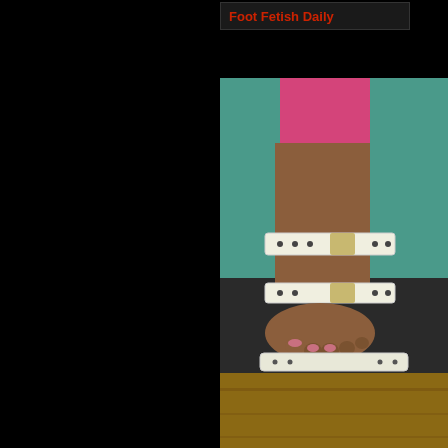Foot Fetish Daily
[Figure (photo): Close-up photo of a foot wearing a white strappy sandal with buckle details, against a teal/wood background. Subject is wearing pink pants/leggings.]
Mario is doing this afternoon. most of the sh have Mario exp can you explain the love. She le her size 7s and hurry to give he rock hard with that he jam it i he say no to t